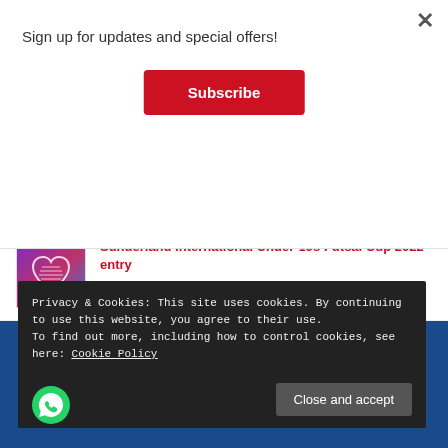Sign up for updates and special offers!
Subscribe
£50.00
[Figure (photo): Product thumbnail with star icons]
Sunderland International Under-19s Futsal Cup 2022 entry
£50.00
[Figure (photo): Sunderland International Under-19s Futsal Cup 2022 entry product image, gradient purple-pink-blue background with heart/trophy icon]
Privacy & Cookies: This site uses cookies. By continuing to use this website, you agree to their use.
To find out more, including how to control cookies, see here: Cookie Policy
Close and accept